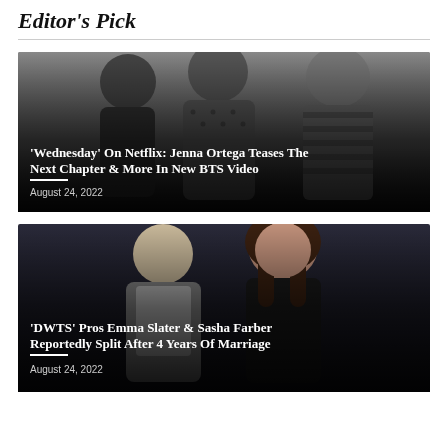Editor's Pick
[Figure (photo): Black and white photo of people at an event, related to Wednesday Netflix show]
'Wednesday' On Netflix: Jenna Ortega Teases The Next Chapter & More In New BTS Video
August 24, 2022
[Figure (photo): Color photo of DWTS pros Emma Slater and Sasha Farber at an event with dark background]
'DWTS' Pros Emma Slater & Sasha Farber Reportedly Split After 4 Years Of Marriage
August 24, 2022